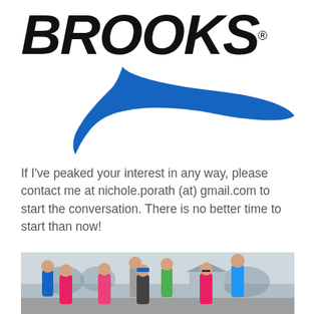[Figure (logo): Brooks running brand logo with wordmark 'BROOKS' in bold italic black text and a blue swoosh/chevron shape beneath]
If I've peaked your interest in any way, please contact me at nichole.porath (at) gmail.com to start the conversation. There is no better time to start than now!
[Figure (photo): Group photo of eight runners in athletic gear posing outdoors on a cloudy day, several wearing pink and blue tops]